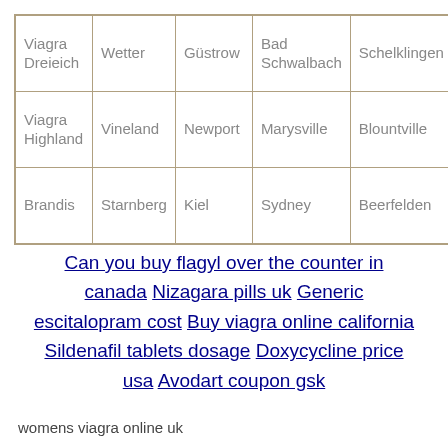| Viagra Dreieich | Wetter | Güstrow | Bad Schwalbach | Schelklingen |
| Viagra Highland | Vineland | Newport | Marysville | Blountville |
| Brandis | Starnberg | Kiel | Sydney | Beerfelden |
Can you buy flagyl over the counter in canada Nizagara pills uk Generic escitalopram cost Buy viagra online california Sildenafil tablets dosage Doxycycline price usa Avodart coupon gsk
womens viagra online uk